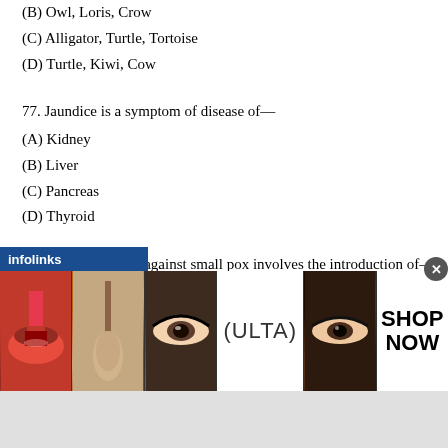(B) Owl, Loris, Crow
(C) Alligator, Turtle, Tortoise
(D) Turtle, Kiwi, Cow
77. Jaundice is a symptom of disease of—
(A) Kidney
(B) Liver
(C) Pancreas
(D) Thyroid
78. The vaccination against small pox involves the introduction of—
(A) Killed germs
(B) Weakened germs
(C) Live antibodies
[Figure (infographic): Advertisement banner with infolinks label, showing makeup/cosmetics images and ULTA beauty logo with SHOP NOW text]